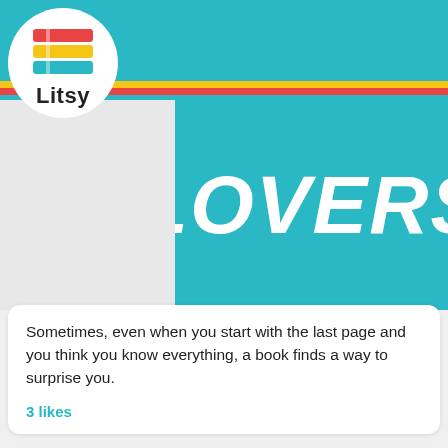[Figure (screenshot): Litsy app screenshot showing navigation bar with teal background and Litsy logo circle, book cover with LOVERS text in white on teal, a post with a quote about books, 3 likes, and a user card for 4thhouseontheleft showing Book Lovers by Emily Henry, with a plant photo at the bottom]
Sometimes, even when you start with the last page and you think you know everything, a book finds a way to surprise you.
3 likes
4thhouseontheleft
Book Lovers | Emily Henry